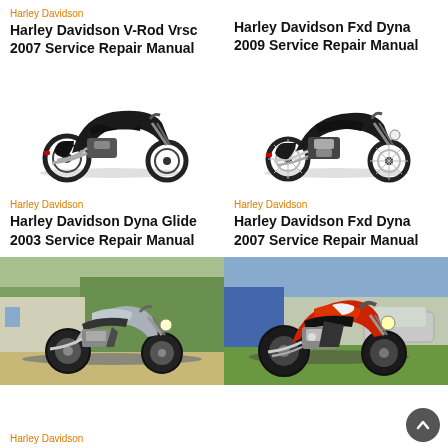Harley Davidson
Harley Davidson V-Rod Vrsc 2007 Service Repair Manual
Harley Davidson Fxd Dyna 2009 Service Repair Manual
[Figure (photo): Black Harley Davidson V-Rod motorcycle side view on white background]
[Figure (photo): Black Harley Davidson Fxd Dyna motorcycle side view on white background]
Harley Davidson
Harley Davidson Dyna Glide 2003 Service Repair Manual
Harley Davidson
Harley Davidson Fxd Dyna 2007 Service Repair Manual
[Figure (photo): Silver Harley Davidson Sportster motorcycle parked outdoors]
[Figure (photo): Red Harley Davidson custom motorcycle parked outdoors]
Harley Davidson